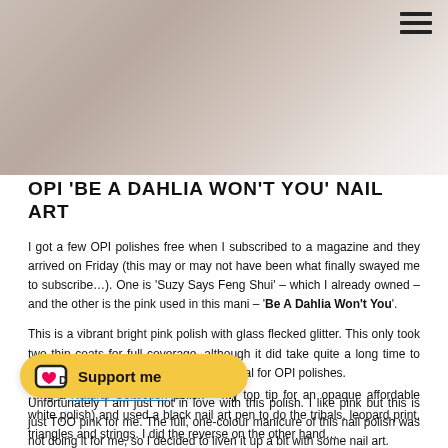[Figure (photo): Close-up photograph of a hand with pink nail polish, showing nail art detail. Light/beige background.]
OPI 'BE A DAHLIA WON'T YOU' NAIL ART
I got a few OPI polishes free when I subscribed to a magazine and they arrived on Friday (this may or may not have been what finally swayed me to subscribe…). One is 'Suzy Says Feng Shui' – which I already owned – and the other is the pink used in this mani – 'Be A Dahlia Won't You'.
This is a vibrant bright pink polish with glass flecked glitter. This only took two thin coats for full coverage, although it did take quite a long time to dry even with Seiche Vite which is unusual for OPI polishes.
Unfortunately I am just not in love with this polish. I like pink but this is just TOO pink for me. The full, one-colour manicure of this nail polish was not doing it for me, so I decided to liven it up a bit with some nail art.
…ng a Natural Collection polish – my top tip for an opaque affordable white polish) and used a black nail art pen to do the tribals, leopard print, triangles and strings. I did the reverse on the other hand…